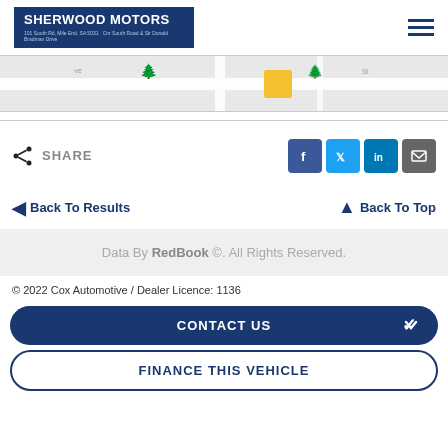[Figure (logo): Sherwood Motors logo on dark blue background with address text]
[Figure (map): Street map showing location with a yellow highlighted building marker]
SHARE
Social sharing buttons: Facebook, Twitter, LinkedIn, Email
Back To Results
Back To Top
Data By RedBook ©. All Rights Reserved.
© 2022 Cox Automotive / Dealer Licence: 1136
CONTACT US
FINANCE THIS VEHICLE